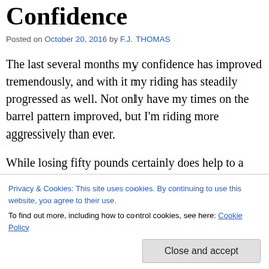Confidence
Posted on October 20, 2016 by F.J. THOMAS
The last several months my confidence has improved tremendously, and with it my riding has steadily progressed as well. Not only have my times on the barrel pattern improved, but I’m riding more aggressively than ever.
While losing fifty pounds certainly does help to a certain extent, what has helped more than
I had mentioned in one of my earlier posts that I
Privacy & Cookies: This site uses cookies. By continuing to use this website, you agree to their use.
To find out more, including how to control cookies, see here: Cookie Policy